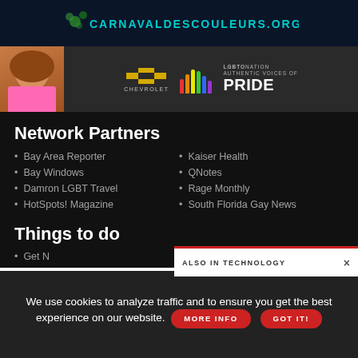[Figure (other): Banner ad with dark blue/teal background and text CARNAVALDESCOULEURS.ORG with green leaf decorations]
[Figure (other): Chevrolet ad banner with person with curly hair, Chevrolet logo, rainbow bars, LGBTO Nation Authentic Voices of Pride text]
Network Partners
Bay Area Reporter
Bay Windows
Damron LGBT Travel
HotSpots! Magazine
Kaiser Health
QNotes
Rage Monthly
South Florida Gay News
Things to do
Get N
ALSO IN TECHNOLOGY
We use cookies to analyze traffic and to ensure you get the best experience on our website.